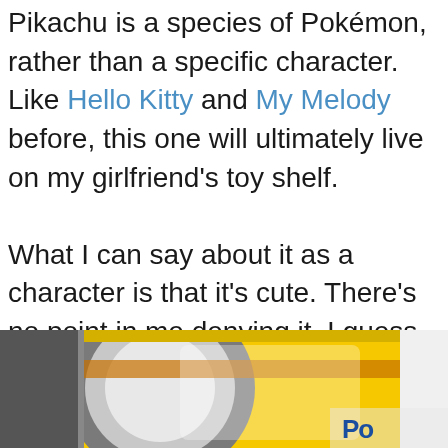Pikachu is a species of Pokémon, rather than a specific character. Like Hello Kitty and My Melody before, this one will ultimately live on my girlfriend's toy shelf.

What I can say about it as a character is that it's cute. There's no point in me denying it, I guess. But beyond that, I'll be sticking to just the facts about the figure itself. At only 4" tall to the tip of the ears, Pikachu is packaged in a diminutive (5" x 5" x 2") window box. Is the gray Pikachu on the cover a friend to the one inside?
[Figure (photo): Partial view of a Pokémon window box packaging, showing yellow and gray colors with the Pokémon logo partially visible in the lower right corner.]